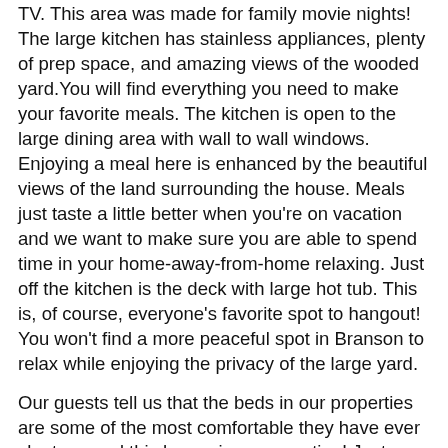TV. This area was made for family movie nights! The large kitchen has stainless appliances, plenty of prep space, and amazing views of the wooded yard.You will find everything you need to make your favorite meals. The kitchen is open to the large dining area with wall to wall windows. Enjoying a meal here is enhanced by the beautiful views of the land surrounding the house. Meals just taste a little better when you're on vacation and we want to make sure you are able to spend time in your home-away-from-home relaxing. Just off the kitchen is the deck with large hot tub. This is, of course, everyone's favorite spot to hangout! You won't find a more peaceful spot in Branson to relax while enjoying the privacy of the large yard.
Our guests tell us that the beds in our properties are some of the most comfortable they have ever slept on, and this house is no exception! Just up stairs from the main level is the primary sleeping area. There is the primary king bedroom with luxury mattress and linens with onsuite bathroom with shower/ tub combo. Just across the hall is the bunk room, perfect for kids! It has double bed with a twin bunk. At the end of the hall is a queen bedroom. Each bedroom has it's own TV - so no more fighting over the remote! Access the second story deck off the queen bedroom - a wonderful place to enjoy the wooded views or spend time on. Between the bedrooms there is a full